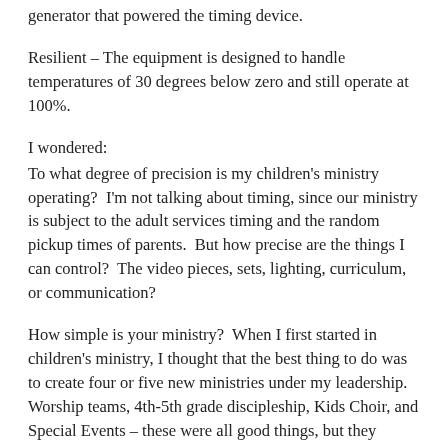generator that powered the timing device.
Resilient – The equipment is designed to handle temperatures of 30 degrees below zero and still operate at 100%.
I wondered:
To what degree of precision is my children's ministry operating?  I'm not talking about timing, since our ministry is subject to the adult services timing and the random pickup times of parents.  But how precise are the things I can control?  The video pieces, sets, lighting, curriculum, or communication?
How simple is your ministry?  When I first started in children's ministry, I thought that the best thing to do was to create four or five new ministries under my leadership.  Worship teams, 4th-5th grade discipleship, Kids Choir, and Special Events – these were all good things, but they overcomplicated the ministry for families.